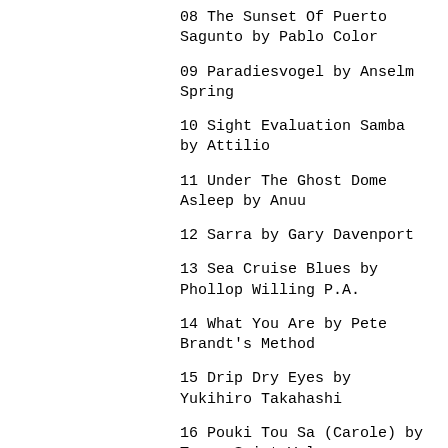08 The Sunset Of Puerto Sagunto by Pablo Color
09 Paradiesvogel by Anselm Spring
10 Sight Evaluation Samba by Attilio
11 Under The Ghost Dome Asleep by Anuu
12 Sarra by Gary Davenport
13 Sea Cruise Blues by Phollop Willing P.A.
14 What You Are by Pete Brandt's Method
15 Drip Dry Eyes by Yukihiro Takahashi
16 Pouki Tou Sa (Carole) by Tanya Saint-Val
17 Blue (Armed With Love) by Wham!
– –
* Featuring samples from a conversation with